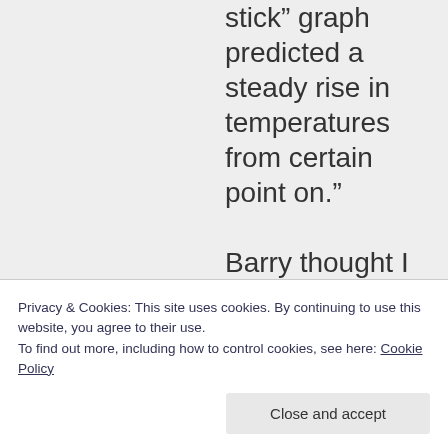stick” graph predicted a steady rise in temperatures from certain point on.” Barry thought I was responding to the wrong
Privacy & Cookies: This site uses cookies. By continuing to use this website, you agree to their use. To find out more, including how to control cookies, see here: Cookie Policy